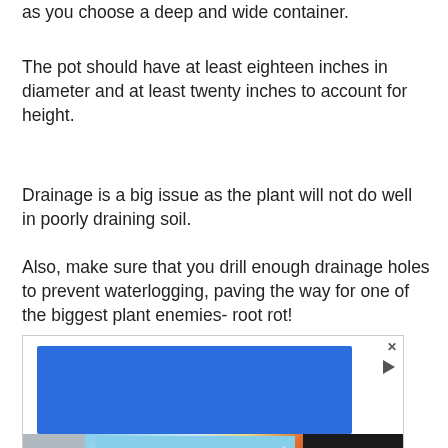as you choose a deep and wide container.
The pot should have at least eighteen inches in diameter and at least twenty inches to account for height.
Drainage is a big issue as the plant will not do well in poorly draining soil.
Also, make sure that you drill enough drainage holes to prevent waterlogging, paving the way for one of the biggest plant enemies- root rot!
[Figure (other): Advertisement banner containing a blue rectangular block with an X close button and play arrow button, and below it an image of an airplane being loaded with cargo, alongside a dark strip with text 'WITHOUT REGARD TO POLITICS, RELIGION, OR ABILITY TO PAY']